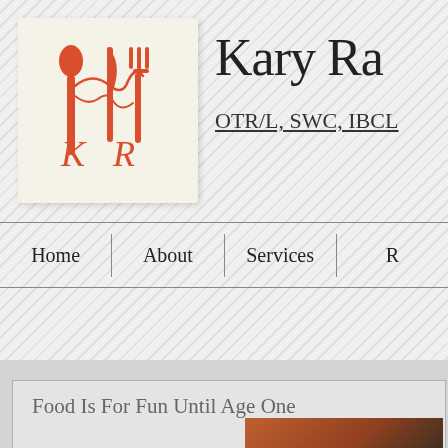[Figure (logo): KR logo with fork, spoon, and knife in red-orange on cream background]
Kary Ra
OTR/L, SWC, IBCL
Home
About
Services
R
Food Is For Fun Until Age One
[Figure (photo): Blurred food photo at bottom right]